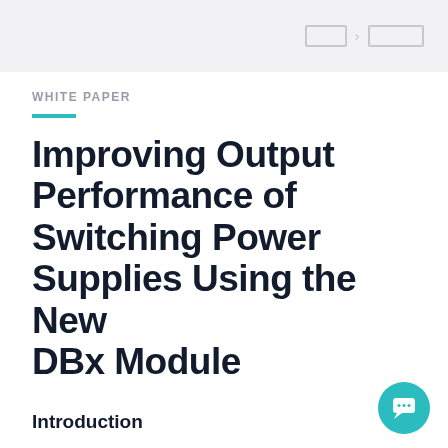[nav breadcrumb placeholder]
WHITE PAPER
Improving Output Performance of Switching Power Supplies Using the New DBx Module
Introduction